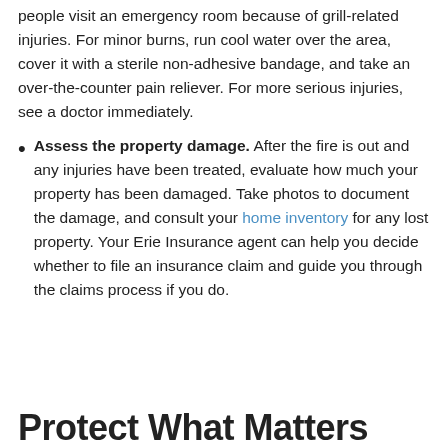people visit an emergency room because of grill-related injuries. For minor burns, run cool water over the area, cover it with a sterile non-adhesive bandage, and take an over-the-counter pain reliever. For more serious injuries, see a doctor immediately.
Assess the property damage. After the fire is out and any injuries have been treated, evaluate how much your property has been damaged. Take photos to document the damage, and consult your home inventory for any lost property. Your Erie Insurance agent can help you decide whether to file an insurance claim and guide you through the claims process if you do.
Protect What Matters...